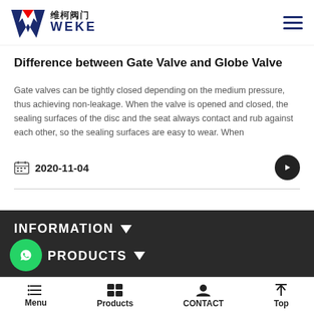维柯阀门 WEKE
Difference between Gate Valve and Globe Valve
Gate valves can be tightly closed depending on the medium pressure, thus achieving non-leakage. When the valve is opened and closed, the sealing surfaces of the disc and the seat always contact and rub against each other, so the sealing surfaces are easy to wear. When
2020-11-04
INFORMATION
PRODUCTS
CONTACT WEKE
Menu  Products  CONTACT  Top